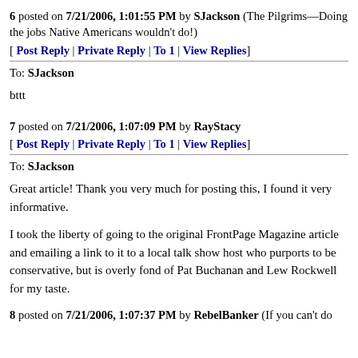6 posted on 7/21/2006, 1:01:55 PM by SJackson (The Pilgrims—Doing the jobs Native Americans wouldn't do!)
[ Post Reply | Private Reply | To 1 | View Replies]
To: SJackson
bttt
7 posted on 7/21/2006, 1:07:09 PM by RayStacy
[ Post Reply | Private Reply | To 1 | View Replies]
To: SJackson
Great article! Thank you very much for posting this, I found it very informative.
I took the liberty of going to the original FrontPage Magazine article and emailing a link to it to a local talk show host who purports to be conservative, but is overly fond of Pat Buchanan and Lew Rockwell for my taste.
8 posted on 7/21/2006, 1:07:37 PM by RebelBanker (If you can't do